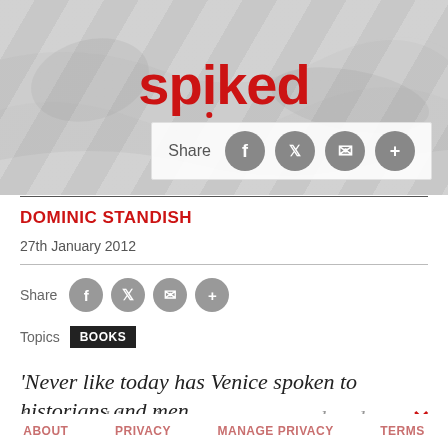[Figure (screenshot): Spiked online magazine header with logo and share bar on a grey paper background]
DOMINIC STANDISH
27th January 2012
Share
Topics  BOOKS
'Never like today has Venice spoken to historians and men in general in a language more real and universal, offering
ABOUT   PRIVACY   MANAGE PRIVACY   TERMS